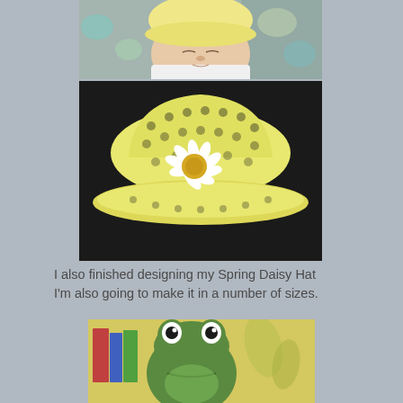[Figure (photo): Close-up photo of a sleeping newborn baby wearing a yellow crocheted hat, lying on a colorful crocheted blanket with white onesie.]
[Figure (photo): Yellow crocheted sun hat with a white daisy flower embellishment with yellow center, photographed on a dark surface.]
I also finished designing my Spring Daisy Hat I'm also going to make it in a number of sizes.
[Figure (photo): Green crocheted frog toy/stuffed animal with large eyes, photographed against a yellow wall with leaf decorations and books in the background.]